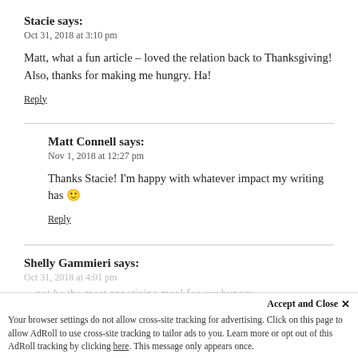Stacie says:
Oct 31, 2018 at 3:10 pm
Matt, what a fun article – loved the relation back to Thanksgiving! Also, thanks for making me hungry. Ha!
Reply
Matt Connell says:
Nov 1, 2018 at 12:27 pm
Thanks Stacie! I'm happy with whatever impact my writing has 🙂
Reply
Shelly Gammieri says:
Oct 31, 2018 at 4:01 pm
Accept and Close ✕
Your browser settings do not allow cross-site tracking for advertising. Click on this page to allow AdRoll to use cross-site tracking to tailor ads to you. Learn more or opt out of this AdRoll tracking by clicking here. This message only appears once.
…not be the most appetizing meal for our hungry…